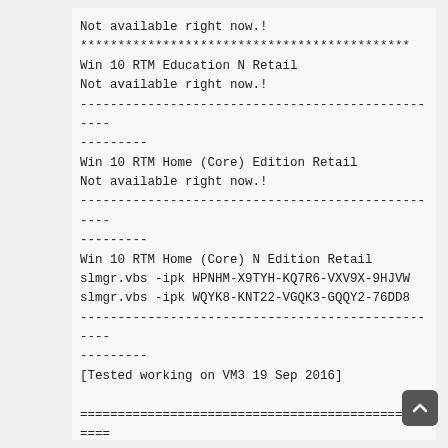Not available right now.!
********************************************
Win 10 RTM Education N Retail
Not available right now.!
--------------------------------------------------
---------
Win 10 RTM Home (Core) Edition Retail
Not available right now.!
--------------------------------------------------
---------
Win 10 RTM Home (Core) N Edition Retail
slmgr.vbs -ipk HPNHM-X9TYH-KQ7R6-VXV9X-9HJVW
slmgr.vbs -ipk WQYK8-KNT22-VGQK3-GQQY2-76DD8
--------------------------------------------------
---------
[Tested working on VM3 19 Sep 2016]

==================================================
===================================
Twitter - https://twitter.com/november_ra1n_
More Info Windows 10 Phone-KMS Activation -- h
ttp://bit.ly/1mSpLRW